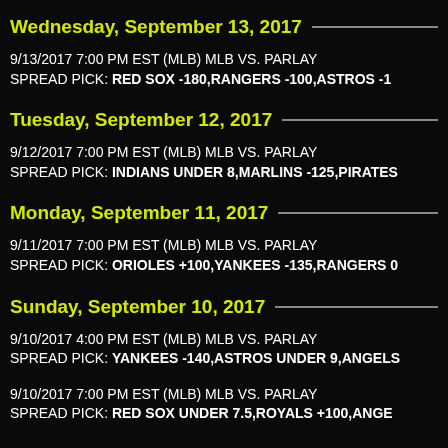Wednesday, September 13, 2017
9/13/2017 7:00 PM EST (MLB) MLB VS. PARLAY
SPREAD PICK: RED SOX -180,RANGERS -100,ASTROS -1...
Tuesday, September 12, 2017
9/12/2017 7:00 PM EST (MLB) MLB VS. PARLAY
SPREAD PICK: INDIANS UNDER 8,MARLINS -125,PIRATES...
Monday, September 11, 2017
9/11/2017 7:00 PM EST (MLB) MLB VS. PARLAY
SPREAD PICK: ORIOLES +100,YANKEES -135,RANGERS 0...
Sunday, September 10, 2017
9/10/2017 4:00 PM EST (MLB) MLB VS. PARLAY
SPREAD PICK: YANKEES -140,ASTROS UNDER 9,ANGELS...
9/10/2017 7:00 PM EST (MLB) MLB VS. PARLAY
SPREAD PICK: RED SOX UNDER 7.5,ROYALS +100,ANGE...